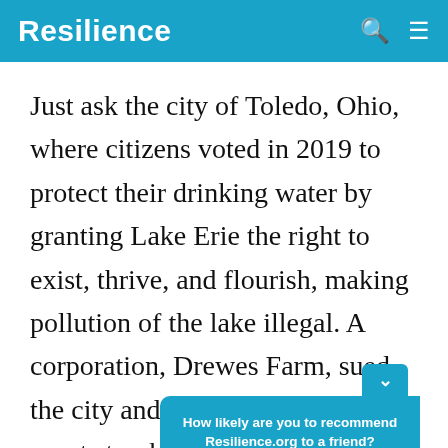Resilience
Just ask the city of Toledo, Ohio, where citizens voted in 2019 to protect their drinking water by granting Lake Erie the right to exist, thrive, and flourish, making pollution of the lake illegal. A corporation, Drewes Farm, sued the city and won when a federal court struck down the local law, citing [obscured by popup] rights. [obscured] the U.S. Co[obscured]
How likely are you to recommend Resilience.org to a friend? Reply